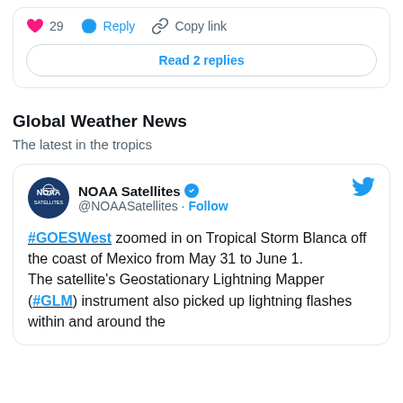[Figure (screenshot): Twitter/social media interaction bar showing heart (29 likes), Reply button, and Copy link button, with a 'Read 2 replies' button below]
Global Weather News
The latest in the tropics
[Figure (screenshot): Tweet from NOAA Satellites (@NOAASatellites) with verified badge and Follow link. Tweet text: #GOESWest zoomed in on Tropical Storm Blanca off the coast of Mexico from May 31 to June 1. The satellite's Geostationary Lightning Mapper (#GLM) instrument also picked up lightning flashes within and around the]